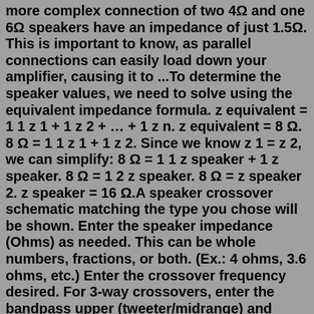more complex connection of two 4Ω and one 6Ω speakers have an impedance of just 1.5Ω. This is important to know, as parallel connections can easily load down your amplifier, causing it to ...To determine the speaker values, we need to solve using the equivalent impedance formula. z equivalent = 1 1 z 1 + 1 z 2 + … + 1 z n. z equivalent = 8 Ω. 8 Ω = 1 1 z 1 + 1 z 2. Since we know z 1 = z 2, we can simplify: 8 Ω = 1 1 z speaker + 1 z speaker. 8 Ω = 1 2 z speaker. 8 Ω = z speaker 2. z speaker = 16 Ω.A speaker crossover schematic matching the type you chose will be shown. Enter the speaker impedance (Ohms) as needed. This can be whole numbers, fractions, or both. (Ex.: 4 ohms, 3.6 ohms, etc.) Enter the crossover frequency desired. For 3-way crossovers, enter the bandpass upper (tweeter/midrange) and lower (midrange/woofer) cutoff frequencies.So if you have the same speakers—two 4-ohm speakers and a 6-ohms speaker—the total impedance for the system would be: 1 / I(total) = 1/4 ohms + 1/4 ohms + 1/6 ohms. 1 / I(total) = 0.667 ohms. I(total) = 1.5 ohms. As